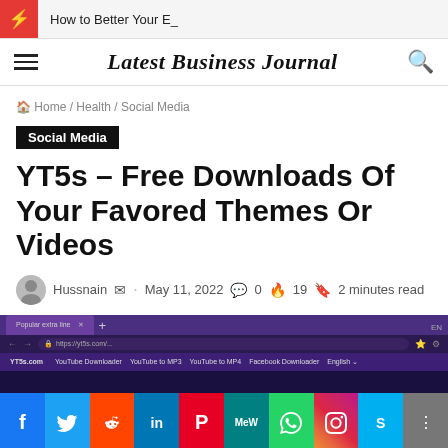How to Better Your E_
Latest Business Journal
Home / Health / Social Media
Social Media
YT5s – Free Downloads Of Your Favored Themes Or Videos
Hussnain  ·  May 11, 2022  0  19  2 minutes read
[Figure (screenshot): Screenshot of YT5s.com website showing a purple-themed browser window with navigation links: YouTube Downloader, YouTube to MP3, YouTube to MP4, Facebook Downloader, English]
[Figure (infographic): Social media sharing icons bar: Facebook (blue), Twitter (light blue), Reddit (orange), LinkedIn (dark blue), Pinterest (red), MeWe (teal), WhatsApp (green), Instagram (gradient), Skype (blue), Share (grey)]